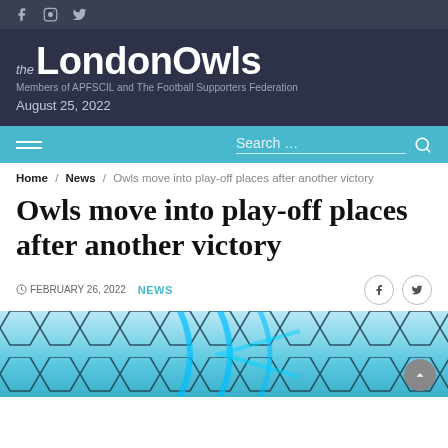the LondonOwls — Members of APFSCIL and The Football Supporters Federation — August 25, 2022
Search …
Home / News / Owls move into play-off places after another victory
Owls move into play-off places after another victory
FEBRUARY 26, 2022  NEWS
[Figure (photo): Close-up photo of a football net with blue hexagonal mesh pattern]